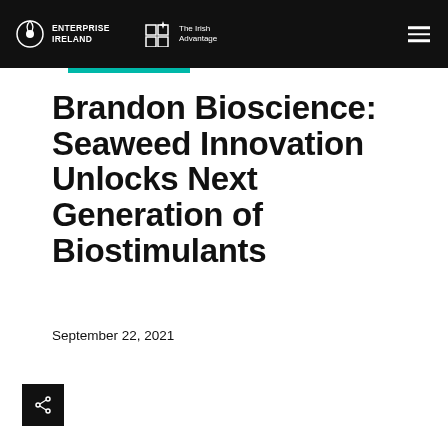Enterprise Ireland — The Irish Advantage
Brandon Bioscience: Seaweed Innovation Unlocks Next Generation of Biostimulants
September 22, 2021